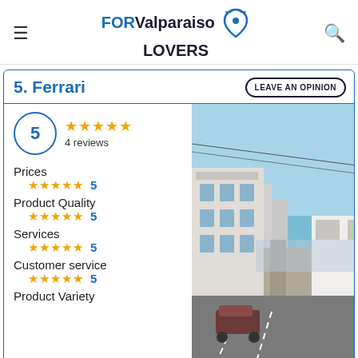FOR Valparaiso LOVERS
5. Ferrari
LEAVE AN OPINION
5
4 reviews
Prices ★★★★★ 5
Product Quality ★★★★★ 5
Services ★★★★★ 5
Customer service ★★★★★ 5
Product Variety
[Figure (photo): Street view photo of a hillside neighborhood in Valparaiso with buildings and blue sky]